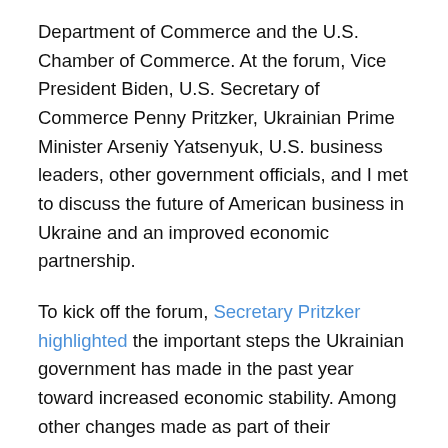Department of Commerce and the U.S. Chamber of Commerce. At the forum, Vice President Biden, U.S. Secretary of Commerce Penny Pritzker, Ukrainian Prime Minister Arseniy Yatsenyuk, U.S. business leaders, other government officials, and I met to discuss the future of American business in Ukraine and an improved economic partnership.
To kick off the forum, Secretary Pritzker highlighted the important steps the Ukrainian government has made in the past year toward increased economic stability. Among other changes made as part of their economic reform agenda, we applaud Ukraine's commitment to developing their energy sector, and streamlined electronic systems for new and current businesses. Additionally, the Obama Administration has pledged its support and provided $2 billion in loan guarantees to Ukrainian households, and